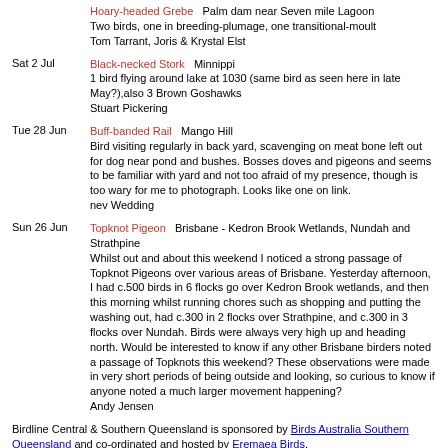Hoary-headed Grebe  Palm dam near Seven mile Lagoon
Two birds, one in breeding-plumage, one transitional-moult
Tom Tarrant, Joris & Krystal Elst
Sat 2 Jul  Black-necked Stork  Minnippi
1 bird flying around lake at 1030 (same bird as seen here in late May?),also 3 Brown Goshawks
Stuart Pickering
Tue 28 Jun  Buff-banded Rail  Mango Hill
Bird visiting regularly in back yard, scavenging on meat bone left out for dog near pond and bushes. Bosses doves and pigeons and seems to be familiar with yard and not too afraid of my presence, though is too wary for me to photograph. Looks like one on link.
nev Wedding
Sun 26 Jun  Topknot Pigeon  Brisbane - Kedron Brook Wetlands, Nundah and Strathpine
Whilst out and about this weekend I noticed a strong passage of Topknot Pigeons over various areas of Brisbane. Yesterday afternoon, I had c.500 birds in 6 flocks go over Kedron Brook wetlands, and then this morning whilst running chores such as shopping and putting the washing out, had c.300 in 2 flocks over Strathpine, and c.300 in 3 flocks over Nundah. Birds were always very high up and heading north. Would be interested to know if any other Brisbane birders noted a passage of Topknots this weekend? These observations were made in very short periods of being outside and looking, so curious to know if anyone noted a much larger movement happening?
Andy Jensen
Birdline Central & Southern Queensland is sponsored by Birds Australia Southern Queensland and co-ordinated and hosted by Eremaea Birds.
==============================
To unsubscribe from this mailing list,